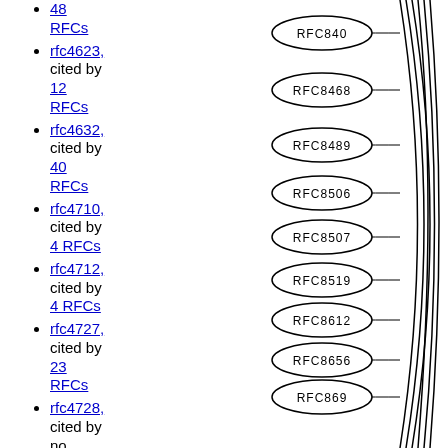48 RFCs
rfc4623, cited by 12 RFCs
rfc4632, cited by 40 RFCs
rfc4710, cited by 4 RFCs
rfc4712, cited by 4 RFCs
rfc4727, cited by 23 RFCs
rfc4728, cited by no other RFCs
rfc4737, cited by 21
[Figure (network-graph): A vertical stack of oval/ellipse nodes labeled RFC840, RFC8468, RFC8489, RFC8506, RFC8507, RFC8519, RFC8612, RFC8656, RFC869, RFC870, RFC8771, RFC8782, connected by curved lines suggesting a network or hierarchy]